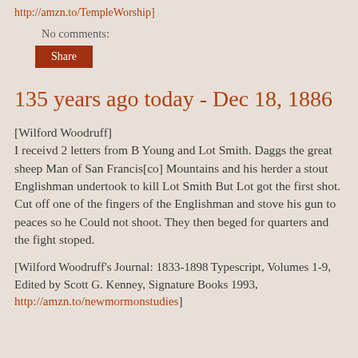http://amzn.to/TempleWorship]
No comments:
Share
135 years ago today - Dec 18, 1886
[Wilford Woodruff]
I receivd 2 letters from B Young and Lot Smith. Daggs the great sheep Man of San Francis[co] Mountains and his herder a stout Englishman undertook to kill Lot Smith But Lot got the first shot. Cut off one of the fingers of the Englishman and stove his gun to peaces so he Could not shoot. They then beged for quarters and the fight stoped.
[Wilford Woodruff’s Journal: 1833-1898 Typescript, Volumes 1-9, Edited by Scott G. Kenney, Signature Books 1993, http://amzn.to/newmormonstudies]